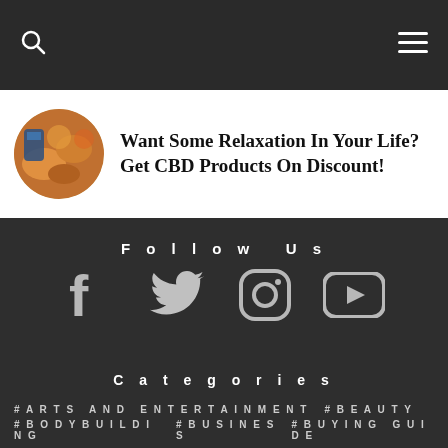Want Some Relaxation In Your Life? Get CBD Products On Discount!
Follow Us
[Figure (infographic): Social media icons: Facebook, Twitter, Instagram, YouTube]
Categories
#ARTS AND ENTERTAINMENT   #BEAUTY
#BODYBUILDING   #BUSINESS   #BUYING GUIDE